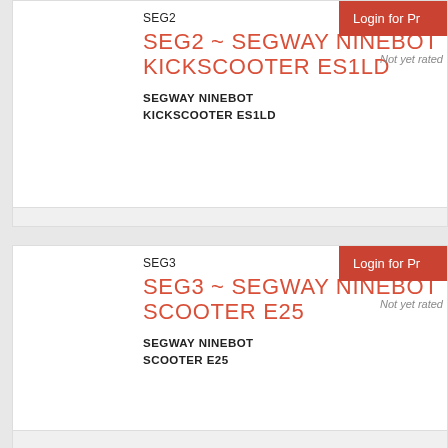SEG2
SEG2 ~ SEGWAY NINEBOT KICKSCOOTER ES1LD
Login for Pr
Not yet rated
SEGWAY NINEBOT KICKSCOOTER ES1LD
SEG3
SEG3 ~ SEGWAY NINEBOT SCOOTER E25
Login for Pr
Not yet rated
SEGWAY NINEBOT SCOOTER E25